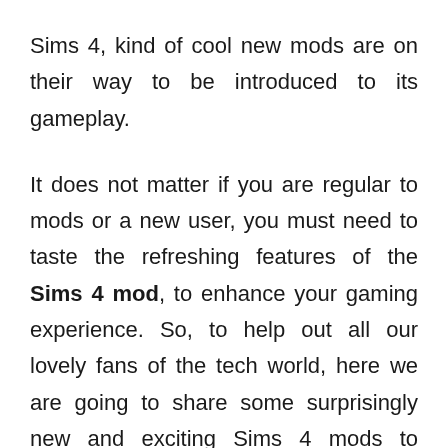Sims 4, kind of cool new mods are on their way to be introduced to its gameplay.

It does not matter if you are regular to mods or a new user, you must need to taste the refreshing features of the Sims 4 mod, to enhance your gaming experience. So, to help out all our lovely fans of the tech world, here we are going to share some surprisingly new and exciting Sims 4 mods to enchant this dull